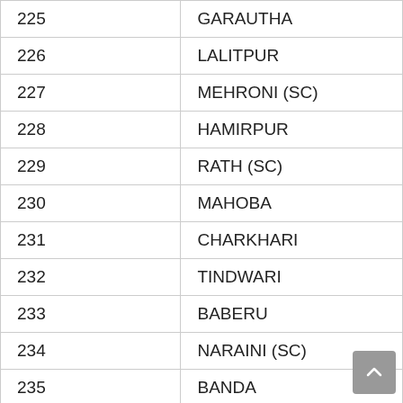| 225 | GARAUTHA |
| 226 | LALITPUR |
| 227 | MEHRONI (SC) |
| 228 | HAMIRPUR |
| 229 | RATH (SC) |
| 230 | MAHOBA |
| 231 | CHARKHARI |
| 232 | TINDWARI |
| 233 | BABERU |
| 234 | NARAINI (SC) |
| 235 | BANDA |